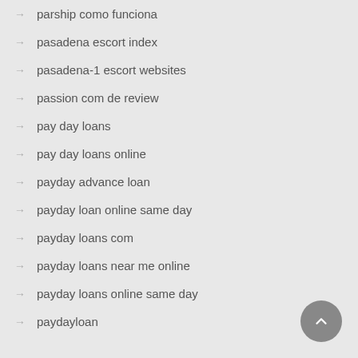parship como funciona
pasadena escort index
pasadena-1 escort websites
passion com de review
pay day loans
pay day loans online
payday advance loan
payday loan online same day
payday loans com
payday loans near me online
payday loans online same day
paydayloan